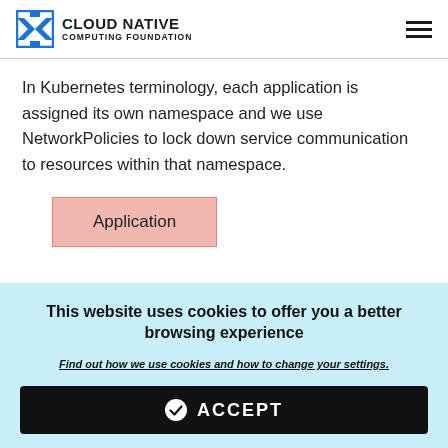CLOUD NATIVE COMPUTING FOUNDATION
In Kubernetes terminology, each application is assigned its own namespace and we use NetworkPolicies to lock down service communication to resources within that namespace.
[Figure (illustration): Diagram showing a pink/salmon colored box labeled 'Application' representing a Kubernetes namespace concept]
This website uses cookies to offer you a better browsing experience
Find out how we use cookies and how to change your settings.
ACCEPT